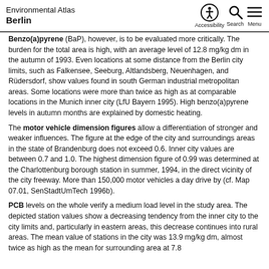Environmental Atlas Berlin
Benzo(a)pyrene (BaP), however, is to be evaluated more critically. The burden for the total area is high, with an average level of 12.8 mg/kg dm in the autumn of 1993. Even locations at some distance from the Berlin city limits, such as Falkensee, Seeburg, Altlandsberg, Neuenhagen, and Rüdersdorf, show values found in south German industrial metropolitan areas. Some locations were more than twice as high as at comparable locations in the Munich inner city (LfU Bayern 1995). High benzo(a)pyrene levels in autumn months are explained by domestic heating.
The motor vehicle dimension figures allow a differentiation of stronger and weaker influences. The figure at the edge of the city and surroundings areas in the state of Brandenburg does not exceed 0.6. Inner city values are between 0.7 and 1.0. The highest dimension figure of 0.99 was determined at the Charlottenburg borough station in summer, 1994, in the direct vicinity of the city freeway. More than 150,000 motor vehicles a day drive by (cf. Map 07.01, SenStadtUmTech 1996b).
PCB levels on the whole verify a medium load level in the study area. The depicted station values show a decreasing tendency from the inner city to the city limits and, particularly in eastern areas, this decrease continues into rural areas. The mean value of stations in the city was 13.9 mg/kg dm, almost twice as high as the mean for surrounding area at 7.8